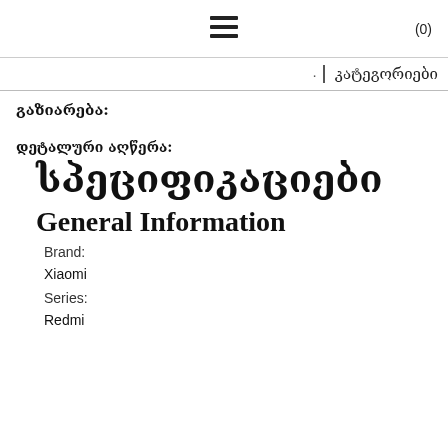☰  (0)
· კატეგორიები
გაზიარება:
დეტალური აღწერა:
სპეციფიკაციები
General Information
Brand:
Xiaomi
Series:
Redmi